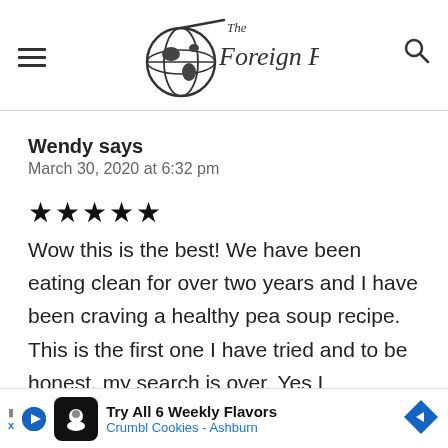The Foreign Fork
Wendy says
March 30, 2020 at 6:32 pm
★★★★★
Wow this is the best! We have been eating clean for over two years and I have been craving a healthy pea soup recipe. This is the first one I have tried and to be honest, my search is over. Yes I did ... ham.
[Figure (other): Advertisement banner: Try All 6 Weekly Flavors - Crumbl Cookies - Ashburn]